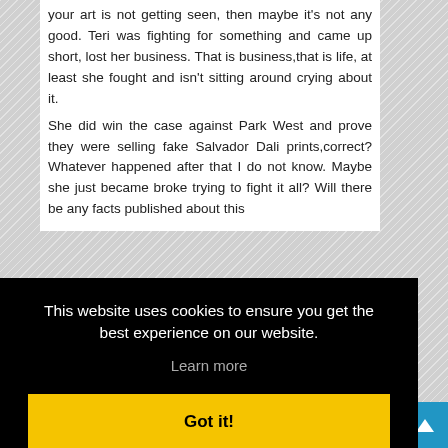your art is not getting seen, then maybe it's not any good. Teri was fighting for something and came up short, lost her business. That is business,that is life, at least she fought and isn't sitting around crying about it.
She did win the case against Park West and prove they were selling fake Salvador Dali prints,correct? Whatever happened after that I do not know. Maybe she just became broke trying to fight it all? Will there be any facts published about this
This website uses cookies to ensure you get the best experience on our website.
Learn more
Got it!
point. To answer his questions. First, Teri Franks did not win the case against Park